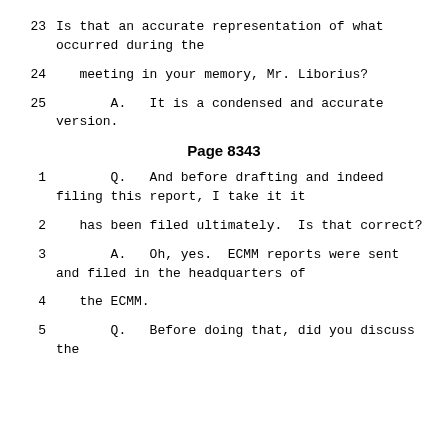23    Is that an accurate representation of what occurred during the
24    meeting in your memory, Mr. Liborius?
25    A.    It is a condensed and accurate version.
Page 8343
1    Q.    And before drafting and indeed filing this report, I take it it
2    has been filed ultimately.  Is that correct?
3    A.    Oh, yes.  ECMM reports were sent and filed in the headquarters of
4    the ECMM.
5    Q.    Before doing that, did you discuss the